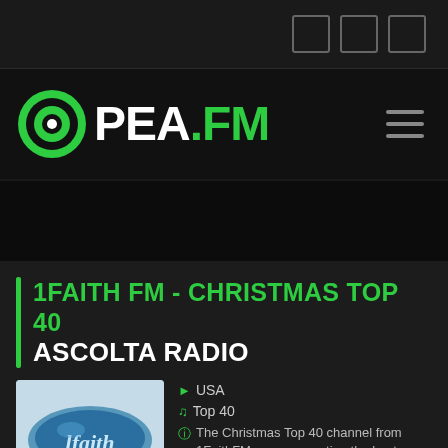[Figure (screenshot): Top navigation bar with three square icon buttons on the right]
[Figure (logo): PEA.FM logo — green radio target icon followed by white PEA and green .FM text, with hamburger menu on right]
1FAITH FM - CHRISTMAS TOP 40 ASCOLTA RADIO
[Figure (logo): 1Faith FM station logo — blue oval with 'lfaith' text on light blue background]
USA
Top 40
The Christmas Top 40 channel from 1FaithFM.com, presenting the best sounds of this season with a difference. 1Faith...